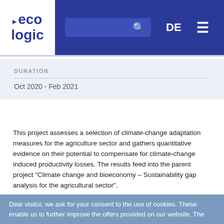eco logic | DE
DURATION
Oct 2020 - Feb 2021
This project assesses a selection of climate-change adaptation measures for the agriculture sector and gathers quantitative evidence on their potential to compensate for climate-change induced productivity losses. The results feed into the parent project "Climate change and bioeconomy – Sustainability gap analysis for the agricultural sector".
Climate-change adaptation measures
Dear visitor, we ask for your consent to the use of cookies. These enable us to further improve the offers provided on our website. The